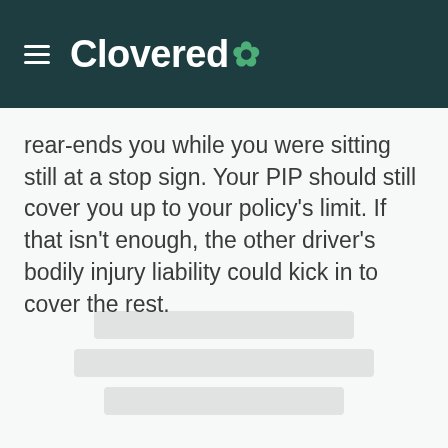Clovered
rear-ends you while you were sitting still at a stop sign. Your PIP should still cover you up to your policy's limit. If that isn't enough, the other driver's bodily injury liability could kick in to cover the rest.